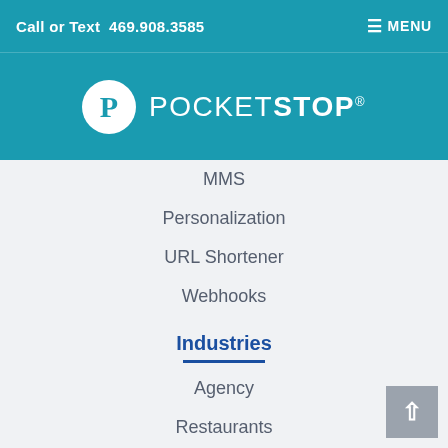Call or Text  469.908.3585   ☰ MENU
[Figure (logo): PocketStop logo — white circle with 'P' and 'POCKETSTOP' wordmark on teal background]
MMS
Personalization
URL Shortener
Webhooks
Industries
Agency
Restaurants
Retail
Shopping Centers